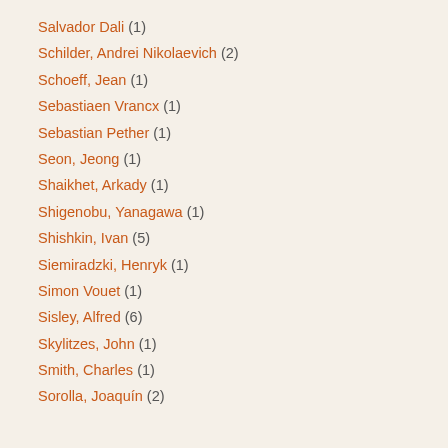Salvador Dali (1)
Schilder, Andrei Nikolaevich (2)
Schoeff, Jean (1)
Sebastiaen Vrancx (1)
Sebastian Pether (1)
Seon, Jeong (1)
Shaikhet, Arkady (1)
Shigenobu, Yanagawa (1)
Shishkin, Ivan (5)
Siemiradzki, Henryk (1)
Simon Vouet (1)
Sisley, Alfred (6)
Skylitzes, John (1)
Smith, Charles (1)
Sorolla, Joaquín (2)